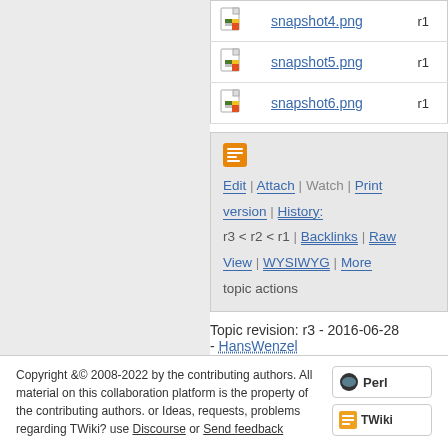|  | Filename | Rev |
| --- | --- | --- |
| [icon] | snapshot4.png | r1 |
| [icon] | snapshot5.png | r1 |
| [icon] | snapshot6.png | r1 |
Edit | Attach | Watch | Print version | History: r3 < r2 < r1 | Backlinks | Raw View | WYSIWYG | More topic actions
Topic revision: r3 - 2016-06-28 - HansWenzel
Copyright &© 2008-2022 by the contributing authors. All material on this collaboration platform is the property of the contributing authors. or Ideas, requests, problems regarding TWiki? use Discourse or Send feedback